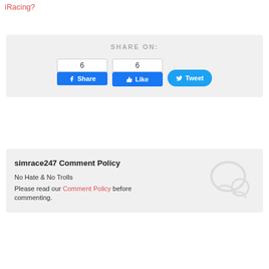iRacing?
[Figure (screenshot): Social share buttons: Facebook Share (count 6), Facebook Like (count 6), Twitter Tweet button]
SHARE ON:
simrace247 Comment Policy
No Hate & No Trolls
Please read our Comment Policy before commenting.